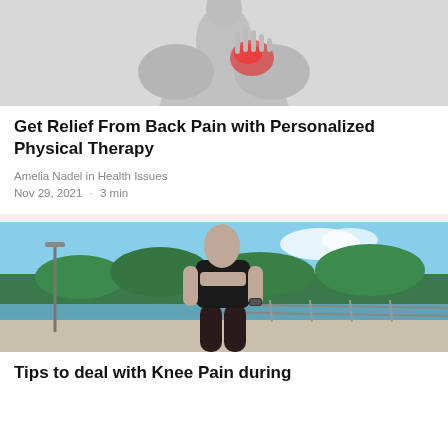[Figure (photo): Grayscale photo of a person touching their neck/upper back with pain highlighted in red]
Get Relief From Back Pain with Personalized Physical Therapy
Amelia Nadel in Health Issues
Nov 29, 2021 · 3 min
[Figure (photo): Photo of a woman in athletic wear from behind, standing outdoors near a waterway with trees in the background]
Tips to deal with Knee Pain during